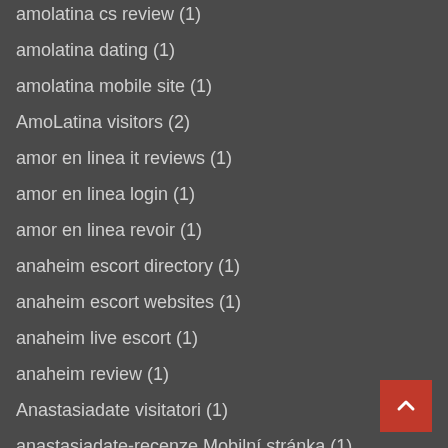amolatina cs review (1)
amolatina dating (1)
amolatina mobile site (1)
AmoLatina visitors (2)
amor en linea it reviews (1)
amor en linea login (1)
amor en linea revoir (1)
anaheim escort directory (1)
anaheim escort websites (1)
anaheim live escort (1)
anaheim review (1)
Anastasiadate visitatori (1)
anastasiadate-recenze Mobilní stránka (1)
anchorage escort (1)
anchorage escort directory (1)
Android advice (1)
Android best dating sites (1)